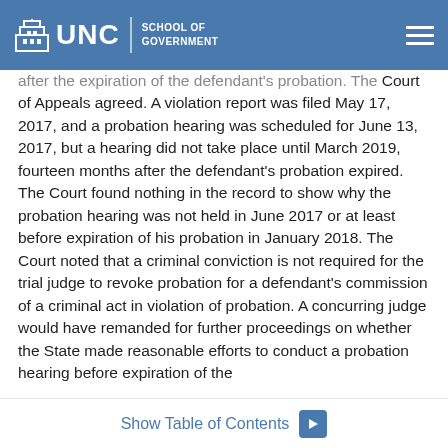UNC School of Government
after the expiration of the defendant's probation. The Court of Appeals agreed. A violation report was filed May 17, 2017, and a probation hearing was scheduled for June 13, 2017, but a hearing did not take place until March 2019, fourteen months after the defendant's probation expired. The Court found nothing in the record to show why the probation hearing was not held in June 2017 or at least before expiration of his probation in January 2018. The Court noted that a criminal conviction is not required for the trial judge to revoke probation for a defendant's commission of a criminal act in violation of probation. A concurring judge would have remanded for further proceedings on whether the State made reasonable efforts to conduct a probation hearing before expiration of the
Show Table of Contents